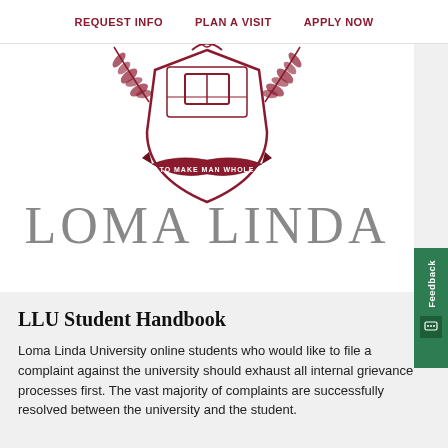REQUEST INFO   PLAN A VISIT   APPLY NOW
[Figure (logo): Loma Linda University crest/shield with laurel branches and banner reading 'TO MAKE MAN WHOLE', with large text 'LOMA LINDA' below]
LLU Student Handbook
Loma Linda University online students who would like to file a complaint against the university should exhaust all internal grievance processes first. The vast majority of complaints are successfully resolved between the university and the student.